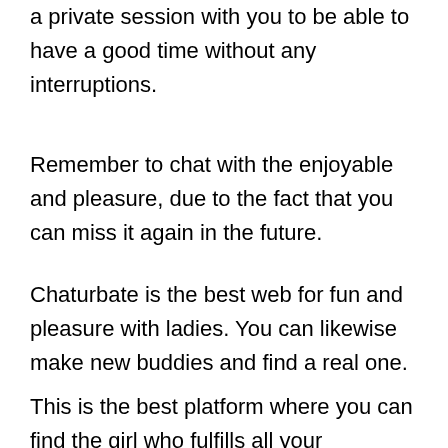a private session with you to be able to have a good time without any interruptions.
Remember to chat with the enjoyable and pleasure, due to the fact that you can miss it again in the future.
Chaturbate is the best web for fun and pleasure with ladies. You can likewise make new buddies and find a real one.
This is the best platform where you can find the girl who fulfills all your